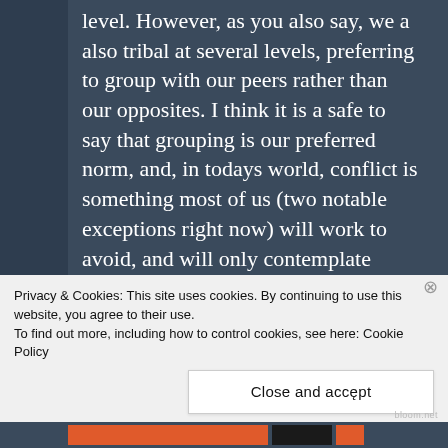level. However, as you also say, we a also tribal at several levels, preferring to group with our peers rather than our opposites. I think it is a safe to say that grouping is our preferred norm, and, in todays world, conflict is something most of us (two notable exceptions right now) will work to avoid, and will only contemplate when we have no suitable peer group available.
“Our democracies, however, are set up from their fundamental tenets to exacerbate it, to extol virtue into an US and THEM politics” I think this will always be the case. The great
Privacy & Cookies: This site uses cookies. By continuing to use this website, you agree to their use.
To find out more, including how to control cookies, see here: Cookie Policy
Close and accept